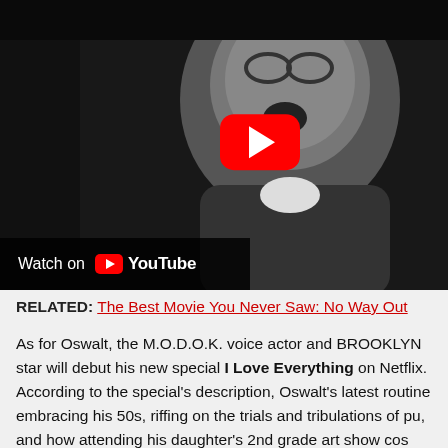[Figure (screenshot): Black and white YouTube video thumbnail showing a man laughing/shouting, with a red YouTube play button overlay and a 'Watch on YouTube' bar at the bottom left.]
RELATED: The Best Movie You Never Saw: No Way Out
As for Oswalt, the M.O.D.O.K. voice actor and BROOKLYN star will debut his new special I Love Everything on Netflix. According to the special's description, Oswalt's latest routine embracing his 50s, riffing on the trials and tribulations of pu, and how attending his daughter's 2nd grade art show cos take a tour of the Millennium Falcon. In addition to I Love E